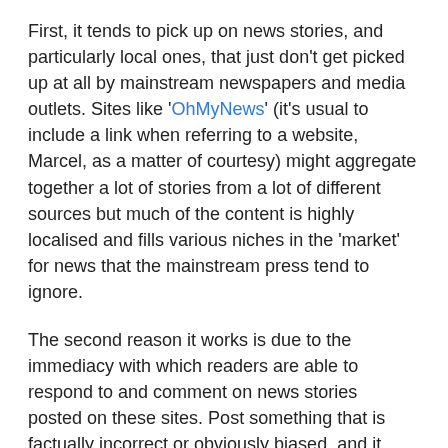First, it tends to pick up on news stories, and particularly local ones, that just don't get picked up at all by mainstream newspapers and media outlets. Sites like 'OhMyNews' (it's usual to include a link when referring to a website, Marcel, as a matter of courtesy) might aggregate together a lot of stories from a lot of different sources but much of the content is highly localised and fills various niches in the 'market' for news that the mainstream press tend to ignore.
The second reason it works is due to the immediacy with which readers are able to respond to and comment on news stories  posted on these sites. Post something that is factually incorrect or obviously biased, and it won't be long before someone shows up to point out your failings. Stories are discussed, debated and dissected, errors and biases noted and pointed out and, if the blogger in question is at all mindful of 'netiquette' and the widely accepted standards on online ethics, mistakes are corrected (and properly acknowledged) an art that seems lost on even the most august of news sources – and if not,